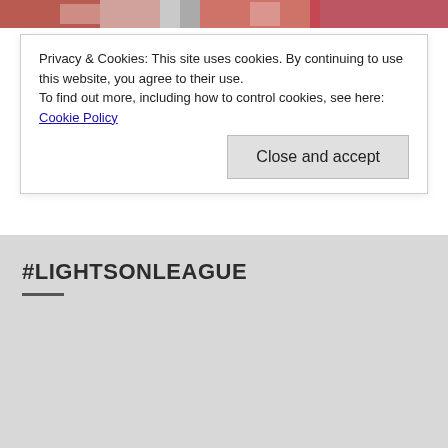[Figure (photo): Top portion of a photo showing colorful decorative items, partially visible at the top of the page]
Privacy & Cookies: This site uses cookies. By continuing to use this website, you agree to their use.
To find out more, including how to control cookies, see here: Cookie Policy
Close and accept
#LIGHTSONLEAGUE